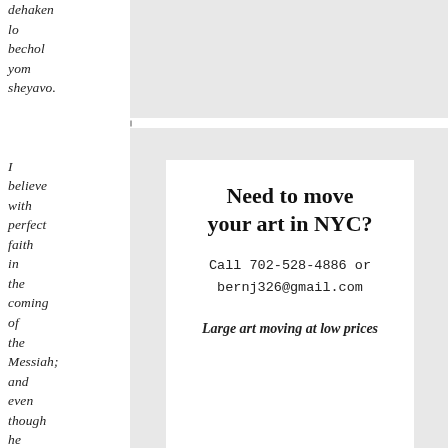dehaken lo bechol yom sheyavo. I believe with perfect faith in the coming of the Messiah; and even though he may delay, I
[Figure (other): Advertisement box with white background on grey. Title: 'Need to move your art in NYC?' Contact: 'Call 702-528-4886 or bernj326@gmail.com'. Tagline: 'Large art moving at low prices']